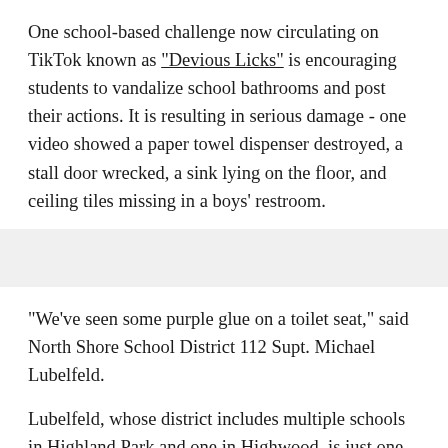One school-based challenge now circulating on TikTok known as "Devious Licks" is encouraging students to vandalize school bathrooms and post their actions. It is resulting in serious damage - one video showed a paper towel dispenser destroyed, a stall door wrecked, a sink lying on the floor, and ceiling tiles missing in a boys' restroom.
"We've seen some purple glue on a toilet seat," said North Shore School District 112 Supt. Michael Lubelfeld.
Lubelfeld, whose district includes multiple schools in Highland Park and one in Highwood, is just one of